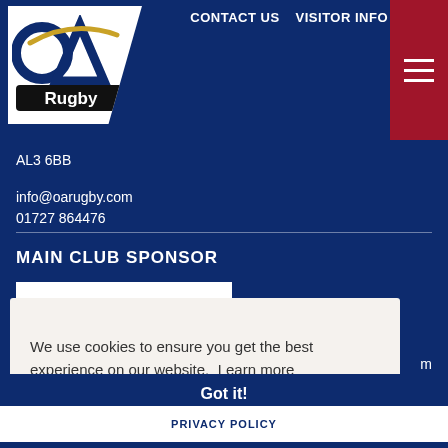CONTACT US   VISITOR INFO
[Figure (logo): OA Rugby club logo — circular OA letters with gold swoosh above black Rugby banner]
AL3 6BB
info@oarugby.com
01727 864476
MAIN CLUB SPONSOR
[Figure (logo): Main club sponsor logo on white background with black bar and red text]
We use cookies to ensure you get the best experience on our website. Learn more
Got it!
PRIVACY POLICY